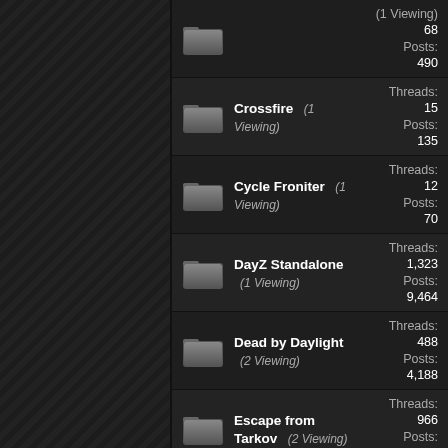Threads: 68 Posts: 490
Crossfire (1 Viewing) Threads: 15 Posts: 135
Cycle Froniter (1 Viewing) Threads: 12 Posts: 70
DayZ Standalone (1 Viewing) Threads: 1,323 Posts: 9,464
Dead by Daylight (2 Viewing) Threads: 488 Posts: 4,188
Escape from Tarkov (2 Viewing) Threads: 966 Posts: 6,851
Fortnite (2 Viewing) Threads: 81 Posts: